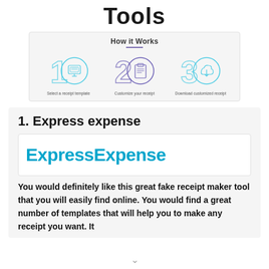Tools
[Figure (infographic): How it Works infographic showing 3 steps: 1) Select a receipt template (icon: screen/receipt), 2) Customize your receipt (icon: clipboard), 3) Download customized receipt (icon: cloud download). Decorative circles with large numerals 1, 2, 3 in teal/blue outline style.]
1. Express expense
[Figure (logo): ExpressExpense logo in bold teal/cyan color on white background]
You would definitely like this great fake receipt maker tool that you will easily find online. You would find a great number of templates that will help you to make any receipt you want. It